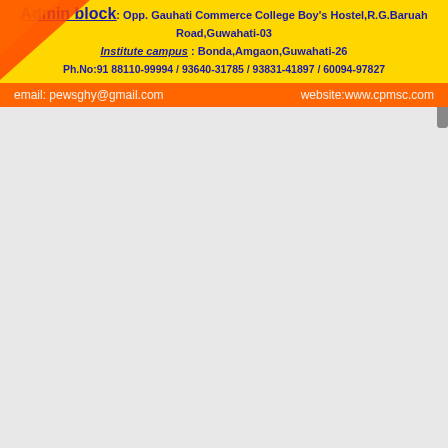Admin block: Opp. Gauhati Commerce College Boy's Hostel,R.G.Baruah Road,Guwahati-03 Institute campus : Bonda,Amgaon,Guwahati-26 Ph.No:91 88110-99994 / 93640-31785 / 93831-41897 / 60094-97827
email: pewsghy@gmail.com   website:www.cpmsc.com